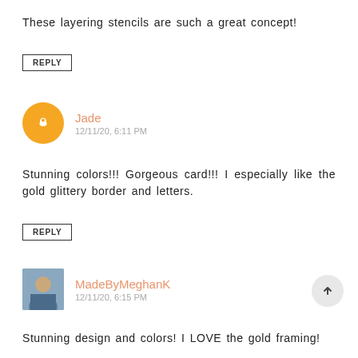These layering stencils are such a great concept!
REPLY
Jade
12/11/20, 6:11 PM
Stunning colors!!! Gorgeous card!!! I especially like the gold glittery border and letters.
REPLY
MadeByMeghanK
12/11/20, 6:15 PM
Stunning design and colors! I LOVE the gold framing!